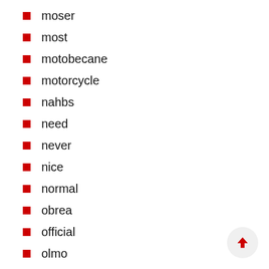moser
most
motobecane
motorcycle
nahbs
need
never
nice
normal
obrea
official
olmo
omni
orbea
original
outstanding